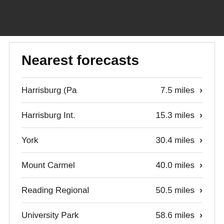[Figure (other): Dark header bar at the top of the page]
Nearest forecasts
Harrisburg (Pa   7.5 miles
Harrisburg Int.   15.3 miles
York   30.4 miles
Mount Carmel   40.0 miles
Reading Regional   50.5 miles
University Park   58.6 miles
...   59.9 miles